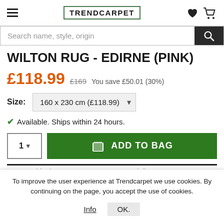TRENDCARPET
Search name, style, origin
WILTON RUG - EDIRNE (PINK)
£118.99  £169  You save £50.01 (30%)
Size: 160 x 230 cm (£118.99)
Available. Ships within 24 hours.
1  ADD TO BAG
Free shipping & Free returns  Fast delivery
To improve the user experience at Trendcarpet we use cookies. By continuing on the page, you accept the use of cookies.
Info  OK.